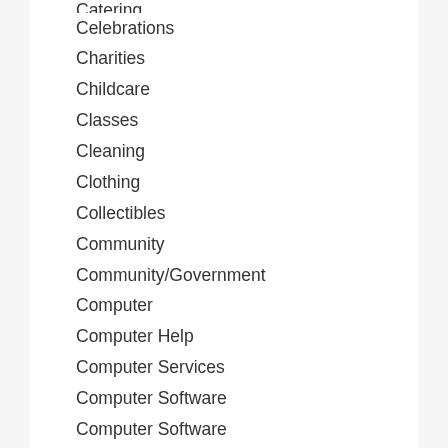Catering (partial, cut off at top)
Celebrations
Charities
Childcare
Classes
Cleaning
Clothing
Collectibles
Community
Community/Government
Computer
Computer Help
Computer Services
Computer Software
Computer Software
Computer Support (partial, cut off at bottom)